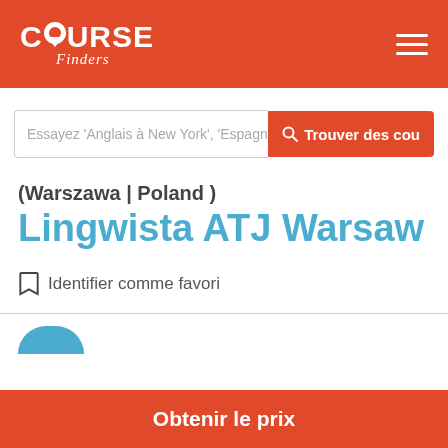Course Finders
Essayez 'Anglais à New York', 'Espagnol à Madrid   Trouver des cou
(Warszawa | Poland )
Lingwista ATJ Warsaw
Identifier comme favori
Obtenir le prix